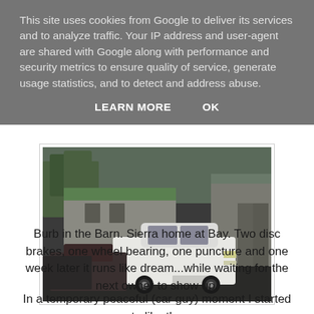This site uses cookies from Google to deliver its services and to analyze traffic. Your IP address and user-agent are shared with Google along with performance and security metrics to ensure quality of service, generate usage statistics, and to detect and address abuse.
LEARN MORE    OK
[Figure (photo): Outdoor photo showing a white sedan car parked in front of large industrial/warehouse buildings with green roofs. Other cars are visible in the background to the left. Trees are visible in the far background.]
Burb in the Barn. Sierra home at Bay. Two disc brakes, one wheel bearing, one puncture and one week later it runs like dream...while waiting for the next owner to show up.
In a temporary peaceful (car guy) moment I started to like the